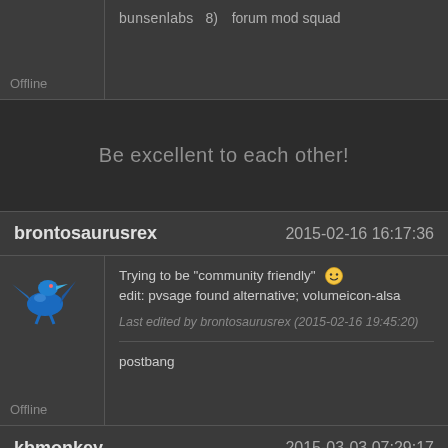bunsenlabs  8)  forum mod squad
Offline
Be excellent to each other!
brontosaurusrex   2015-02-16 16:17:36
[Figure (illustration): Pixel art dinosaur avatar (blue pterodactyl-like creature)]
Trying to be "community friendly" :) edit: pvsage found alternative; volumeicon-alsa
Last edited by brontosaurusrex (2015-02-16 19:45:20)
postbang
Offline
kbmonkey   2015-03-03 07:29:17